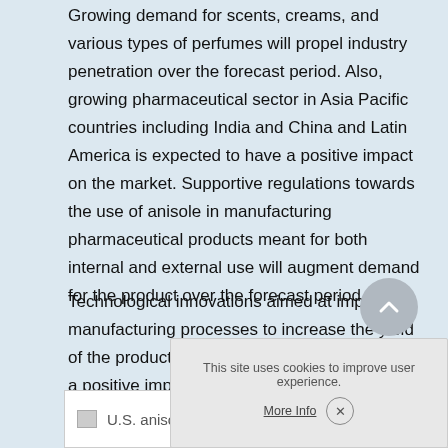Growing demand for scents, creams, and various types of perfumes will propel industry penetration over the forecast period. Also, growing pharmaceutical sector in Asia Pacific countries including India and China and Latin America is expected to have a positive impact on the market. Supportive regulations towards the use of anisole in manufacturing pharmaceutical products meant for both internal and external use will augment demand for the product over the forecast period.
Technological innovations aimed at improving manufacturing processes to increase the yield of the product with high levels of purity will have a positive impact on the industry. However, raw material price volatility and availability are expected to restrain market growth over the next seven years.
[Figure (other): U.S. anisole market image placeholder (broken image icon with alt text)]